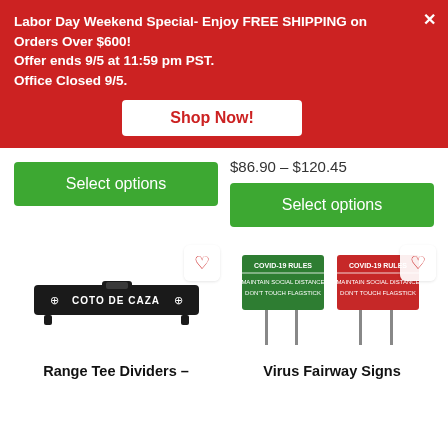Labor Day Weekend Special- Enjoy FREE SHIPPING on Orders Over $600!
Offer ends 9/5 at 11:59 pm PST.
Office Closed 9/5.
Shop Now!
Select options
$86.90 – $120.45
Select options
[Figure (photo): Range Tee Divider product image showing a black bar with 'COTO DE CAZA' text and shield logos]
[Figure (photo): Virus Fairway Signs product image showing two COVID-19 rules signs on stakes, one green and one red, both reading 'COVID-19 RULES MAINTAIN SOCIAL DISTANCE DON'T TOUCH FLAGSTICK']
Range Tee Dividers –
Virus Fairway Signs